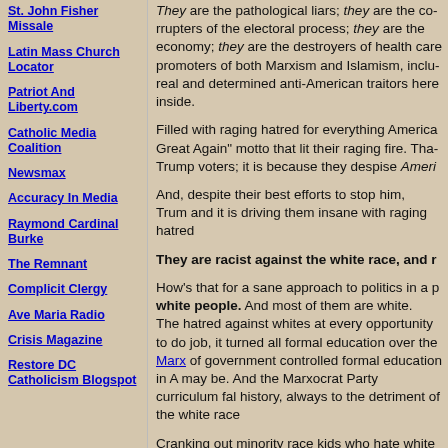St. John Fisher Missale
Latin Mass Church Locator
Patriot And Liberty.com
Catholic Media Coalition
Newsmax
Accuracy In Media
Raymond Cardinal Burke
The Remnant
Complicit Clergy
Ave Maria Radio
Crisis Magazine
Restore DC Catholicism Blogspot
They are the pathological liars; they are the corrupters of the electoral process; they are the economy; they are the destroyers of health care promoters of both Marxism and Islamism, real and determined anti-American traitors here inside.
Filled with raging hatred for everything America Great Again" motto that lit their raging fire. Trump voters; it is because they despise Ameri
And, despite their best efforts to stop him, Trump and it is driving them insane with raging hatred
They are racist against the white race, and r
How's that for a sane approach to politics in a p white people. And most of them are white. They hatred against whites at every opportunity to do job, it turned all formal education over the Marxo of government controlled formal education in A may be. And the Marxocrat Party curriculum fal history, always to the detriment of the white race
Cranking out minority race kids who hate white who feel guilty about being white, and wish the psychologically programmed to go into weeping